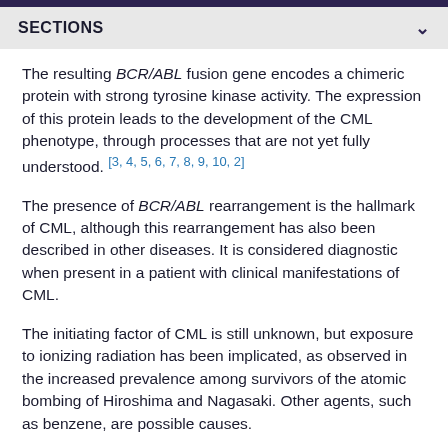SECTIONS
The resulting BCR/ABL fusion gene encodes a chimeric protein with strong tyrosine kinase activity. The expression of this protein leads to the development of the CML phenotype, through processes that are not yet fully understood. [3, 4, 5, 6, 7, 8, 9, 10, 2]
The presence of BCR/ABL rearrangement is the hallmark of CML, although this rearrangement has also been described in other diseases. It is considered diagnostic when present in a patient with clinical manifestations of CML.
The initiating factor of CML is still unknown, but exposure to ionizing radiation has been implicated, as observed in the increased prevalence among survivors of the atomic bombing of Hiroshima and Nagasaki. Other agents, such as benzene, are possible causes.
Epidemiology
The American Cancer Society (ACS) estimates that 8860